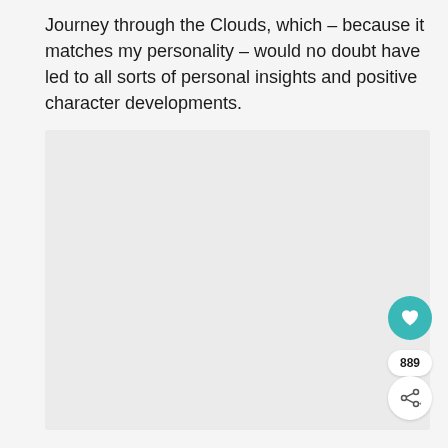Journey through the Clouds, which – because it matches my personality – would no doubt have led to all sorts of personal insights and positive character developments.
[Figure (other): Large light gray rectangular image placeholder area below the text block]
889